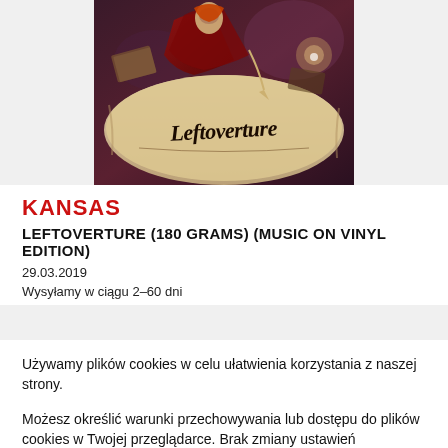[Figure (illustration): Album cover art for Kansas – Leftoverture. Shows a robed figure writing on a scroll with the word 'Leftoverture' in gothic lettering, on a dark atmospheric background.]
KANSAS
LEFTOVERTURE (180 GRAMS) (MUSIC ON VINYL EDITION)
29.03.2019
Wysyłamy w ciągu 2–60 dni
Używamy plików cookies w celu ułatwienia korzystania z naszej strony.
Możesz określić warunki przechowywania lub dostępu do plików cookies w Twojej przeglądarce. Brak zmiany ustawień przeglądarki oznacza zgodę na ich wykorzystywanie.
ROZUMIEM